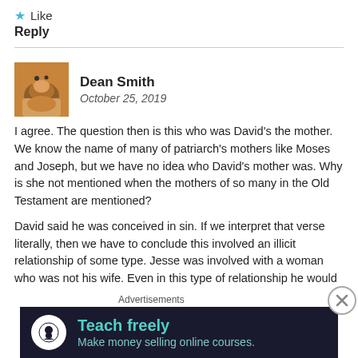★ Like
Reply
[Figure (photo): Avatar photo of Dean Smith showing a camel in desert setting]
Dean Smith
October 25, 2019
I agree. The question then is this who was David's the mother. We know the name of many of patriarch's mothers like Moses and Joseph, but we have no idea who David's mother was. Why is she not mentioned when the mothers of so many in the Old Testament are mentioned?
David said he was conceived in sin. If we interpret that verse literally, then we have to conclude this involved an illicit relationship of some type. Jesse was involved with a woman who was not his wife. Even in this type of relationship he would still be the father. Thanks for your
Advertisements
[Figure (screenshot): Advertisement banner with dark background showing 'Teach freely - Make money selling online courses.' with a white circle icon]